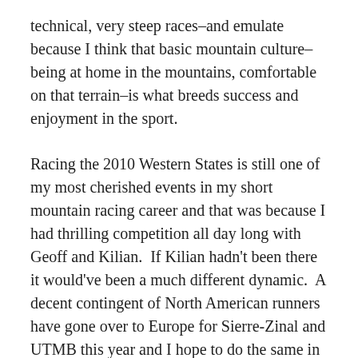technical, very steep races–and emulate because I think that basic mountain culture–being at home in the mountains, comfortable on that terrain–is what breeds success and enjoyment in the sport.
Racing the 2010 Western States is still one of my most cherished events in my short mountain racing career and that was because I had thrilling competition all day long with Geoff and Kilian.  If Kilian hadn't been there it would've been a much different dynamic.  A decent contingent of North American runners have gone over to Europe for Sierre-Zinal and UTMB this year and I hope to do the same in the coming years, so the notion that Euros know what they are doing is gaining traction, except that I think there are all kinds of great races